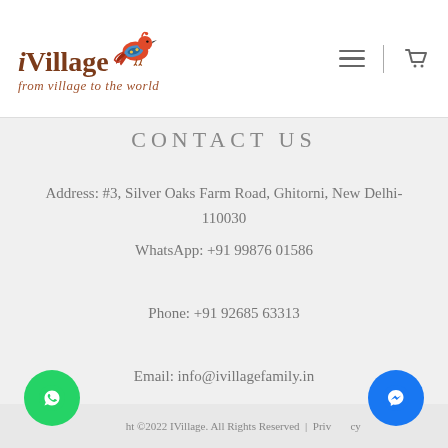[Figure (logo): iVillage logo with decorative bird and tagline 'from village to the world']
CONTACT US
Address: #3, Silver Oaks Farm Road, Ghitorni, New Delhi- 110030
WhatsApp: +91 99876 01586
Phone: +91 92685 63313
Email: info@ivillagefamily.in
ht ©2022 IVillage. All Rights Reserved | Priv...cy